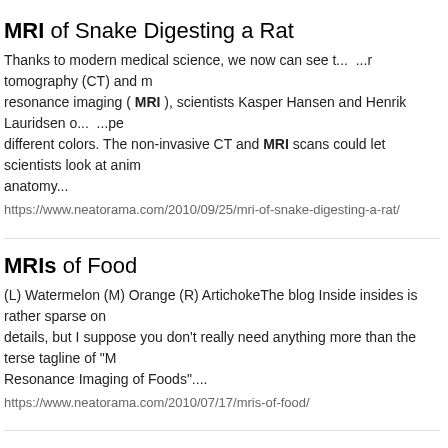MRI of Snake Digesting a Rat
Thanks to modern medical science, we now can see t...  ...r tomography (CT) and m resonance imaging ( MRI ), scientists Kasper Hansen and Henrik Lauridsen o...  ...pe different colors. The non-invasive CT and MRI scans could let scientists look at anim anatomy...
https://www.neatorama.com/2010/09/25/mri-of-snake-digesting-a-rat/
MRIs of Food
(L) Watermelon (M) Orange (R) ArtichokeThe blog Inside insides is rather sparse on details, but I suppose you don't really need anything more than the terse tagline of "M Resonance Imaging of Foods"....
https://www.neatorama.com/2010/07/17/mris-of-food/
Placebo Effect Caught on MRI
Not only is the placebo effect becoming stronger, but it's now been imaged for the firs by researchers with fMRI machines. Falk Eippert at the University Medical Centre Ha Eppendorf in Germany led the study:...
https://www.neatorama.com/2009/10/16/placebo-effect-caught-on-mri/